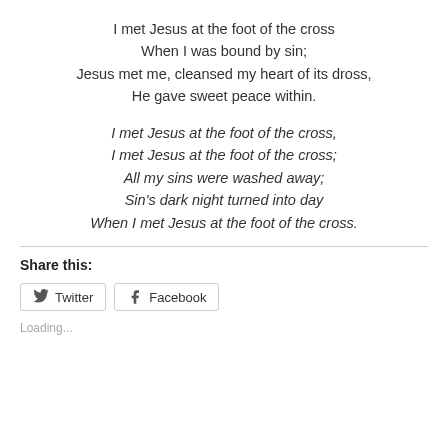I met Jesus at the foot of the cross
When I was bound by sin;
Jesus met me, cleansed my heart of its dross,
He gave sweet peace within.
I met Jesus at the foot of the cross,
I met Jesus at the foot of the cross;
All my sins were washed away;
Sin's dark night turned into day
When I met Jesus at the foot of the cross.
Share this:
Twitter  Facebook
Loading...